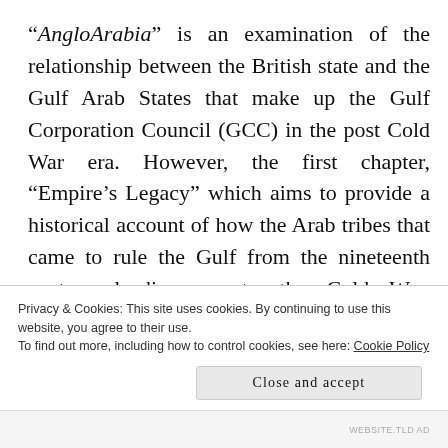“AngloArabia” is an examination of the relationship between the British state and the Gulf Arab States that make up the Gulf Corporation Council (GCC) in the post Cold War era. However, the first chapter, “Empire’s Legacy” which aims to provide a historical account of how the Arab tribes that came to rule the Gulf from the nineteenth century leading up to the Cold War, confirmed my expectations. First of all, Wearing claims that “by the end of the nineteenth century, the Gulf was firmly under British control, with the British resident (London’s chief regional diplomat) able to call in naval support under
Privacy & Cookies: This site uses cookies. By continuing to use this website, you agree to their use.
To find out more, including how to control cookies, see here: Cookie Policy
Close and accept
WEBSITE.TLD AD